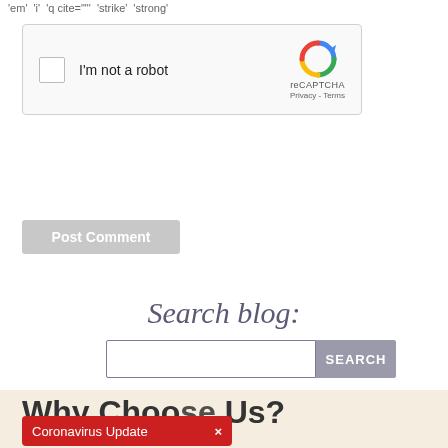'em' 'i' 'q cite=""' 'strike' 'strong'
[Figure (screenshot): reCAPTCHA widget with checkbox 'I'm not a robot' and Google reCAPTCHA logo with Privacy and Terms links]
Post Comment
Search blog:
[Figure (screenshot): Search input box with SEARCH button]
Why Choose Us?
Coronavirus Update